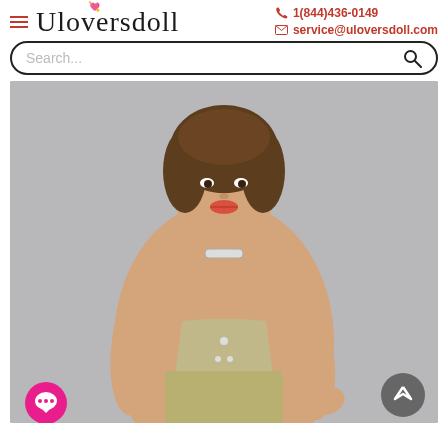Uloversdoll | 1(844)436-0149 | service@uloversdoll.com
Search...
[Figure (photo): Product photo of a realistic humanoid doll with brown hair, wearing denim overalls, posed against a gray background. The doll has realistic facial features and skin tones.]